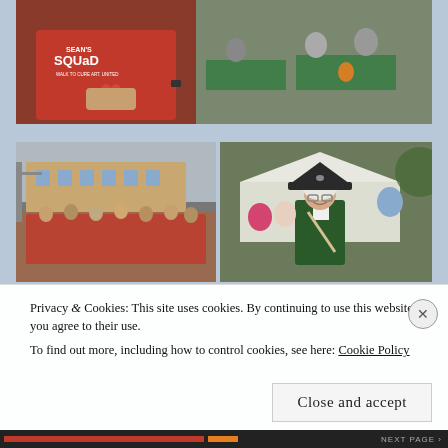[Figure (photo): Person wearing a red 'Sean's Squad' t-shirt holding a red heart-shaped award/trophy. Background shows an outdoor event with people seated at tables with green tablecloths and orange balloon decorations.]
[Figure (photo): Large group of people in red t-shirts gathered outside a brick building, appearing to be participants in a walk/run event.]
[Figure (photo): Person dressed in a colonial/historical costume (tricorn hat, green coat, white wig) smiling at a tent event, surrounded by other participants.]
Privacy & Cookies: This site uses cookies. By continuing to use this website, you agree to their use.
To find out more, including how to control cookies, see here: Cookie Policy
Close and accept